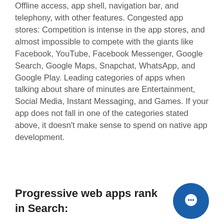Offline access, app shell, navigation bar, and telephony, with other features. Congested app stores: Competition is intense in the app stores, and almost impossible to compete with the giants like Facebook, YouTube, Facebook Messenger, Google Search, Google Maps, Snapchat, WhatsApp, and Google Play. Leading categories of apps when talking about share of minutes are Entertainment, Social Media, Instant Messaging, and Games. If your app does not fall in one of the categories stated above, it doesn't make sense to spend on native app development.
Progressive web apps rank in Search: